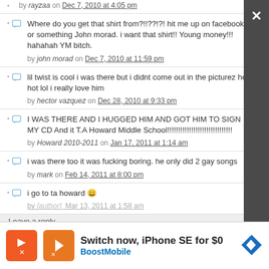by rayzaa on Dec 7, 2010 at 4:05 pm
Where do you get that shirt from?!!??!?! hit me up on facebook or something John morad. i want that shirt!! Young money!!! hahahah YM bitch.
by john morad on Dec 7, 2010 at 11:59 pm
lil twist is cool i was there but i didnt come out in the picturez hez hot lol i really love him
by hector vazquez on Dec 28, 2010 at 9:33 pm
I WAS THERE AND I HUGGED HIM AND GOT HIM TO SIGN MY CD And it T.A Howard Middle School!!!!!!!!!!!!!!!!!!!!!!!!!!!!!!
by Howard 2010-2011 on Jan 17, 2011 at 1:14 am
i was there too it was fucking boring. he only did 2 gay songs
by mark on Feb 14, 2011 at 8:00 pm
i go to ta howard 😀
by [author] on Mar 13, 2011 at 1:58 am
Leave a reply
[Figure (infographic): Boost Mobile advertisement banner: Switch now, iPhone SE for $0 with orange Boost Mobile logo and blue diamond navigation arrow icon]